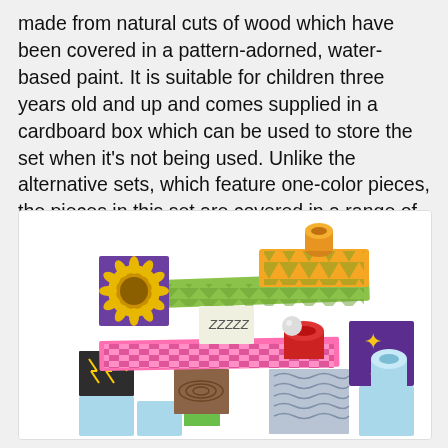made from natural cuts of wood which have been covered in a pattern-adorned, water-based paint. It is suitable for children three years old and up and comes supplied in a cardboard box which can be used to store the set when it's not being used. Unlike the alternative sets, which feature one-color pieces, the pieces in this set are covered in a range of eye-catching, multi-colored designs, making them more visually stimulating and stylish at the same time.
[Figure (photo): A colorful wooden marble run toy set with pattern-adorned multi-colored pieces including blocks, ramps, and tubes assembled into a structure.]